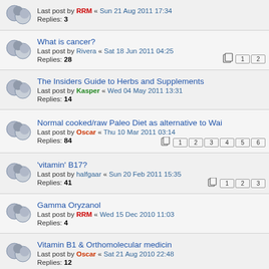Last post by RRM « Sun 21 Aug 2011 17:34
Replies: 3
What is cancer?
Last post by Rivera « Sat 18 Jun 2011 04:25
Replies: 28  pages: 1 2
The Insiders Guide to Herbs and Supplements
Last post by Kasper « Wed 04 May 2011 13:31
Replies: 14
Normal cooked/raw Paleo Diet as alternative to Wai
Last post by Oscar « Thu 10 Mar 2011 03:14
Replies: 84  pages: 1 2 3 4 5 6
'vitamin' B17?
Last post by halfgaar « Sun 20 Feb 2011 15:35
Replies: 41  pages: 1 2 3
Gamma Oryzanol
Last post by RRM « Wed 15 Dec 2010 11:03
Replies: 4
Vitamin B1 & Orthomolecular medicin
Last post by Oscar « Sat 21 Aug 2010 22:48
Replies: 12
Amo & Evol...